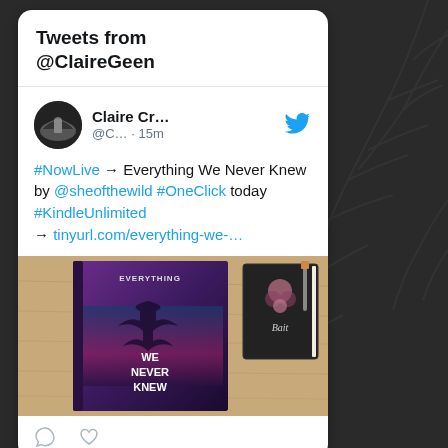Tweets from @ClaireGeen
Claire Cr... @C... · 15m
#NowLive → Everything We Never Knew by @sheofthewild #OneClick today #KindleUnlimited → tinyurl.com/everything-we-...
[Figure (photo): Book cover photo of 'Everything We Never Knew' with a purple/dark cover, placed on a wooden surface next to another dark book]
Reply and Like action icons